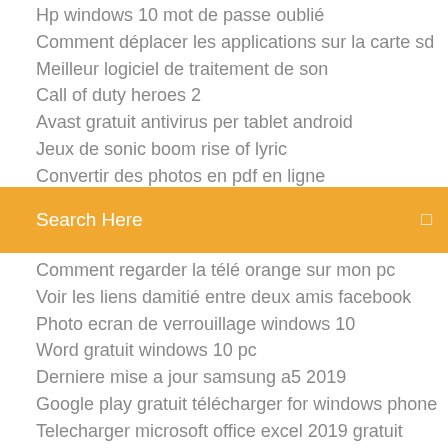Hp windows 10 mot de passe oublié
Comment déplacer les applications sur la carte sd
Meilleur logiciel de traitement de son
Call of duty heroes 2
Avast gratuit antivirus per tablet android
Jeux de sonic boom rise of lyric
Convertir des photos en pdf en ligne
[Figure (screenshot): Orange search bar with 'Search Here' placeholder text and a search icon]
Comment regarder la télé orange sur mon pc
Voir les liens damitié entre deux amis facebook
Photo ecran de verrouillage windows 10
Word gratuit windows 10 pc
Derniere mise a jour samsung a5 2019
Google play gratuit télécharger for windows phone
Telecharger microsoft office excel 2019 gratuit
Télécharger gratuitement microsoft excel 2019
Télécharger vlc windows 7 64 bits gratuit
Iptv player pro apk free